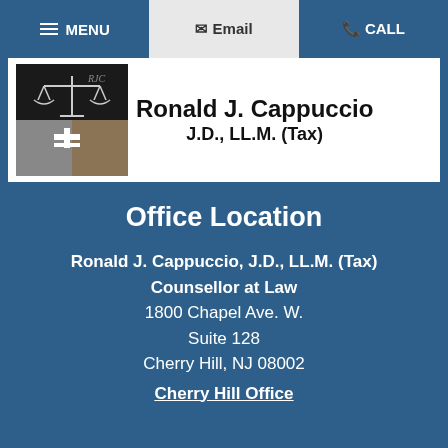MENU | Email | CALL
[Figure (logo): Ronald J. Cappuccio law firm logo with scales of justice and cross symbol]
Ronald J. Cappuccio J.D., LL.M. (Tax)
Office Location
Ronald J. Cappuccio, J.D., LL.M. (Tax)
Counsellor at Law
1800 Chapel Ave. W.
Suite 128
Cherry Hill, NJ 08002
Cherry Hill Office